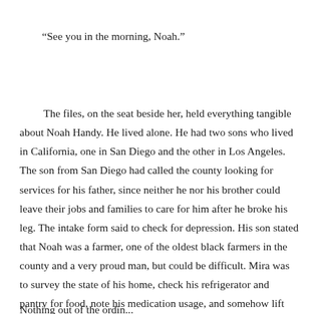“See you in the morning, Noah.”
The files, on the seat beside her, held everything tangible about Noah Handy. He lived alone. He had two sons who lived in California, one in San Diego and the other in Los Angeles. The son from San Diego had called the county looking for services for his father, since neither he nor his brother could leave their jobs and families to care for him after he broke his leg. The intake form said to check for depression. His son stated that Noah was a farmer, one of the oldest black farmers in the county and a very proud man, but could be difficult. Mira was to survey the state of his home, check his refrigerator and pantry for food, note his medication usage, and somehow lift his spirits. Since she’d joined RSPL, she’d learned that the routine was the same for all. She just needed to remember names and find some way to make them smile. It was a predictable fit for her regulated life. No sloppiness of attachment. No fear of surprise.
Nothing out of the ordinary...